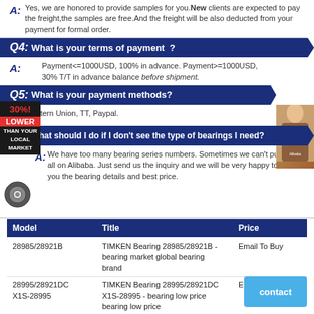A: Yes, we are honored to provide samples for you. New clients are expected to pay the freight,the samples are free. And the freight will be also deducted from your payment for formal order.
Q4: What is your terms of payment ?
A: Payment<=1000USD, 100% in advance. Payment>=1000USD, 30% T/T in advance balance before shipment.
Q5: What is your payment methods?
A: Western Union, TT, Paypal.
Q6: What should I do if I don't see the type of bearings I need?
A: We have too many bearing series numbers. Sometimes we can't put them all on Alibaba. Just send us the inquiry and we will be very happy to send you the bearing details and best price.
| Model | Title | Price |
| --- | --- | --- |
| 28985/28921B | TIMKEN Bearing 28985/28921B - bearing market global bearing brand | Email To Buy |
| 28995/28921DC X1S-28995 | TIMKEN Bearing 28995/28921DC X1S-28995 - bearing low price bearing low price | Email To Buy |
| 28985/28921A | TIMKEN Bearing 28985/28921A - | Email To Buy |